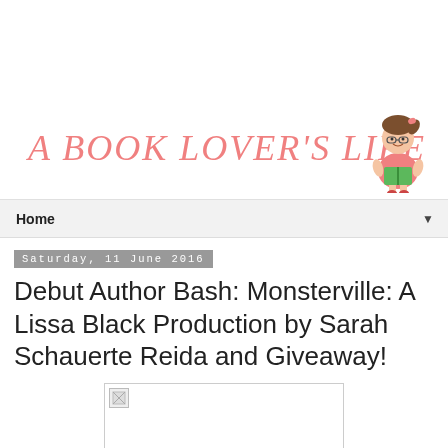A BOOK LOVER'S LIFE
[Figure (illustration): Cartoon mascot of a girl with brown hair in a ponytail, wearing glasses and a pink dress, reading a green book]
Home ▼
Saturday, 11 June 2016
Debut Author Bash: Monsterville: A Lissa Black Production by Sarah Schauerte Reida and Giveaway!
[Figure (photo): Broken/missing image placeholder]